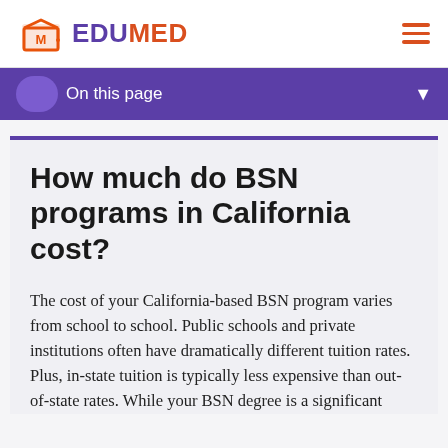EDUMED
On this page
How much do BSN programs in California cost?
The cost of your California-based BSN program varies from school to school. Public schools and private institutions often have dramatically different tuition rates. Plus, in-state tuition is typically less expensive than out-of-state rates. While your BSN degree is a significant